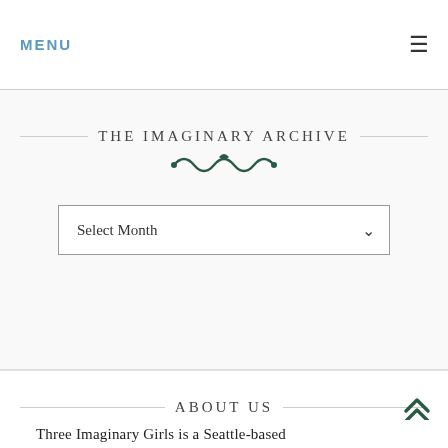MENU ≡
THE IMAGINARY ARCHIVE
Select Month (dropdown)
ABOUT US
Three Imaginary Girls is a Seattle-based